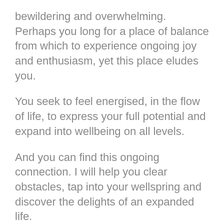bewildering and overwhelming. Perhaps you long for a place of balance from which to experience ongoing joy and enthusiasm, yet this place eludes you.
You seek to feel energised, in the flow of life, to express your full potential and expand into wellbeing on all levels.
And you can find this ongoing connection. I will help you clear obstacles, tap into your wellspring and discover the delights of an expanded life.
How do you get started? First, click below to receive my audio meditation. Plus you'll get my free Seasons Newsletter to help you connect with the rhythms of life.